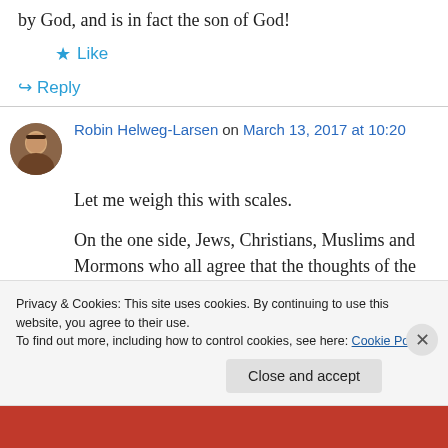by God, and is in fact the son of God!
★ Like
↪ Reply
Robin Helweg-Larsen on March 13, 2017 at 10:20
Let me weigh this with scales.
On the one side, Jews, Christians, Muslims and Mormons who all agree that the thoughts of the creator of a billion galaxies are to be found in a
Privacy & Cookies: This site uses cookies. By continuing to use this website, you agree to their use.
To find out more, including how to control cookies, see here: Cookie Policy
Close and accept